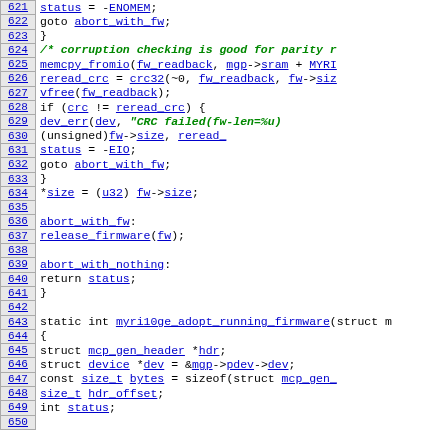Source code listing lines 621-650, C kernel driver code for myri10ge firmware loading